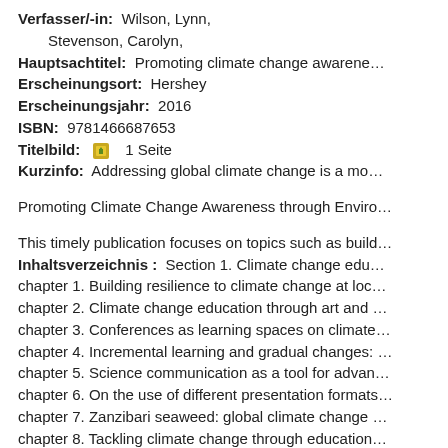Verfasser/-in: Wilson, Lynn, Stevenson, Carolyn,
Hauptsachtitel: Promoting climate change awarene…
Erscheinungsort: Hershey
Erscheinungsjahr: 2016
ISBN: 9781466687653
Titelbild: [icon] 1 Seite
Kurzinfo: Addressing global climate change is a mo…
Promoting Climate Change Awareness through Enviro…
This timely publication focuses on topics such as build…
Inhaltsverzeichnis : Section 1. Climate change edu…
chapter 1. Building resilience to climate change at loc…
chapter 2. Climate change education through art and …
chapter 3. Conferences as learning spaces on climate…
chapter 4. Incremental learning and gradual changes: …
chapter 5. Science communication as a tool for advan…
chapter 6. On the use of different presentation formats…
chapter 7. Zanzibari seaweed: global climate change …
chapter 8. Tackling climate change through education…
chapter 9. Gendered vulnerability and adaptation to cli…
section 2. The voices of youth --
chapter 10. NGO roles in promoting climate change a…
chapter 11. Taking action from awareness: pro-univers